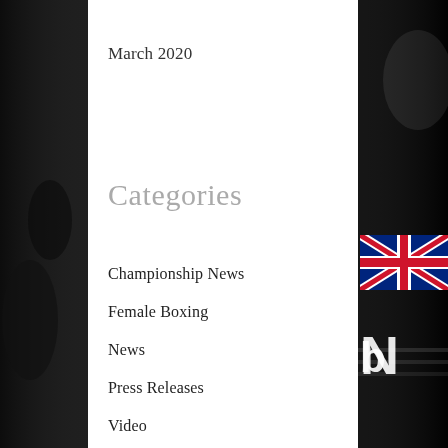March 2020
Categories
Championship News
Female Boxing
News
Press Releases
Video